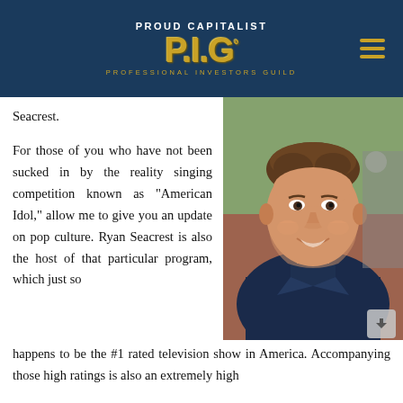[Figure (logo): Proud Capitalist P.I.G. Professional Investors Guild logo with gold lettering on dark blue background, hamburger menu icon on right]
Seacrest.
For those of you who have not been sucked in by the reality singing competition known as “American Idol,” allow me to give you an update on pop culture. Ryan Seacrest is also the host of that particular program, which just so happens to be the #1 rated television show in America. Accompanying those high ratings is also an extremely high
[Figure (photo): Headshot photo of Ryan Seacrest smiling, wearing a dark blue suit, photographed outdoors at an event]